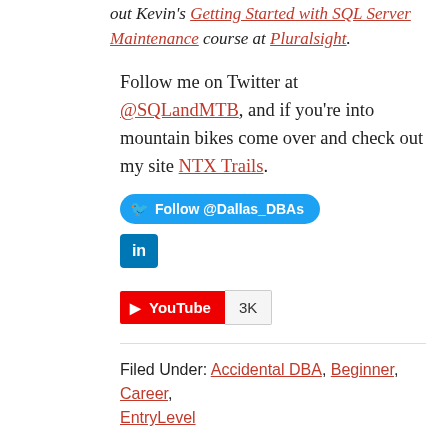out Kevin's Getting Started with SQL Server Maintenance course at Pluralsight.
Follow me on Twitter at @SQLandMTB, and if you're into mountain bikes come over and check out my site NTX Trails.
[Figure (other): Twitter Follow @Dallas_DBAs button (blue pill-shaped), LinkedIn icon (blue square with 'in')]
[Figure (other): YouTube subscribe button with 3K count]
Filed Under: Accidental DBA, Beginner, Career, EntryLevel